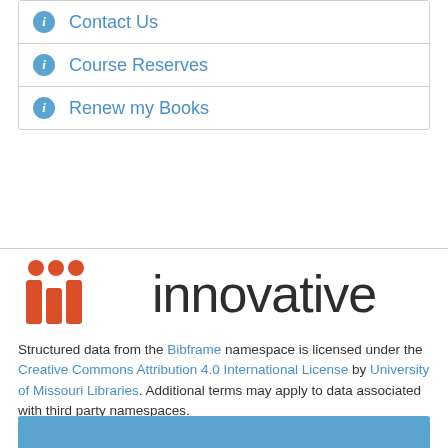Contact Us
Course Reserves
Renew my Books
[Figure (logo): Innovative Interfaces logo — three red/orange vertical bar groups and the word 'innovative' in dark gray]
Structured data from the Bibframe namespace is licensed under the Creative Commons Attribution 4.0 International License by University of Missouri Libraries. Additional terms may apply to data associated with third party namespaces.